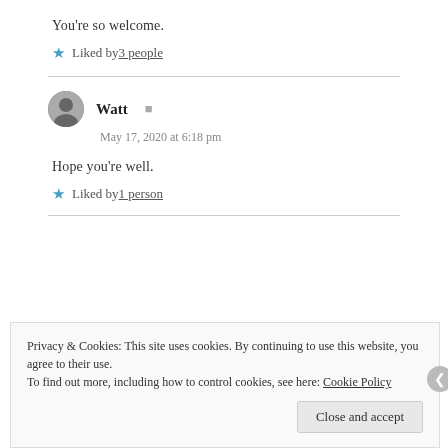You're so welcome.
★ Liked by 3 people
Watt  May 17, 2020 at 6:18 pm
Hope you're well.
★ Liked by 1 person
Privacy & Cookies: This site uses cookies. By continuing to use this website, you agree to their use. To find out more, including how to control cookies, see here: Cookie Policy